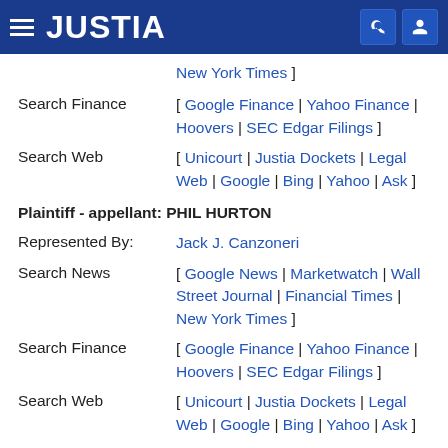JUSTIA
New York Times ]
Search Finance   [ Google Finance | Yahoo Finance | Hoovers | SEC Edgar Filings ]
Search Web   [ Unicourt | Justia Dockets | Legal Web | Google | Bing | Yahoo | Ask ]
Plaintiff - appellant: PHIL HURTON
Represented By:   Jack J. Canzoneri
Search News   [ Google News | Marketwatch | Wall Street Journal | Financial Times | New York Times ]
Search Finance   [ Google Finance | Yahoo Finance | Hoovers | SEC Edgar Filings ]
Search Web   [ Unicourt | Justia Dockets | Legal Web | Google | Bing | Yahoo | Ask ]
Plaintiff - appellant: KEITH D. KAPLAN